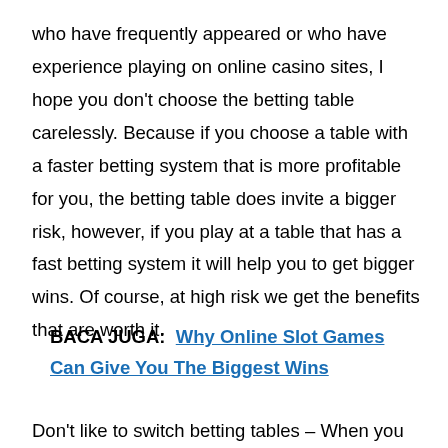who have frequently appeared or who have experience playing on online casino sites, I hope you don't choose the betting table carelessly. Because if you choose a table with a faster betting system that is more profitable for you, the betting table does invite a bigger risk, however, if you play at a table that has a fast betting system it will help you to get bigger wins. Of course, at high risk we get the benefits that are worth it.
BACA JUGA: Why Online Slot Games Can Give You The Biggest Wins
Don't like to switch betting tables – When you play at a